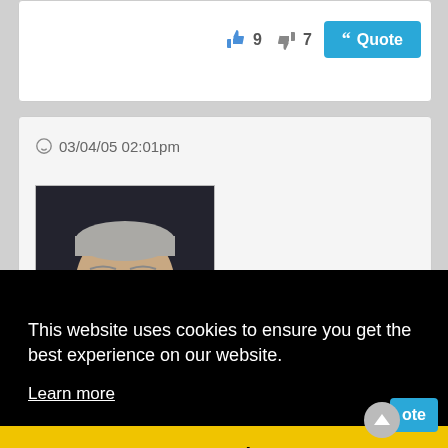[Figure (screenshot): Forum post action bar with thumbs up (9), thumbs down (7) vote counts and a blue Quote button]
03/04/05 02:01pm
[Figure (photo): Profile avatar of a man with glasses and short hair against dark background, Status: offline]
This website uses cookies to ensure you get the best experience on our website.
Learn more
Got it!